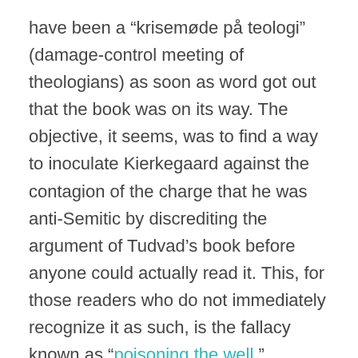have been a “krisemøde på teologi” (damage-control meeting of theologians) as soon as word got out that the book was on its way. The objective, it seems, was to find a way to inoculate Kierkegaard against the contagion of the charge that he was anti-Semitic by discrediting the argument of Tudvad’s book before anyone could actually read it. This, for those readers who do not immediately recognize it as such, is the fallacy known as “poisoning the well.”
The book did not come out until the 9th of November, yet the English theologian George Pattison wrote an article for the Nov.